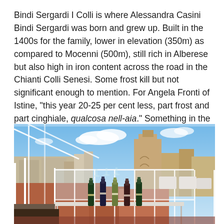Bindi Sergardi I Colli is where Alessandra Casini Bindi Sergardi was born and grew up. Built in the 1400s for the family, lower in elevation (350m) as compared to Mocenni (500m), still rich in Alberese but also high in iron content across the road in the Chianti Colli Senesi. Some frost kill but not significant enough to mention. For Angela Fronti of Istine, “this year 20-25 per cent less, part frost and part cinghiale, qualcosa nell-aia.” Something in the yard.
[Figure (photo): Outdoor rooftop terrace with wine bottles on a table, white metal railing and pergola structure, with a cityscape featuring historic Italian architecture including church towers visible in the background under a partly cloudy blue sky.]